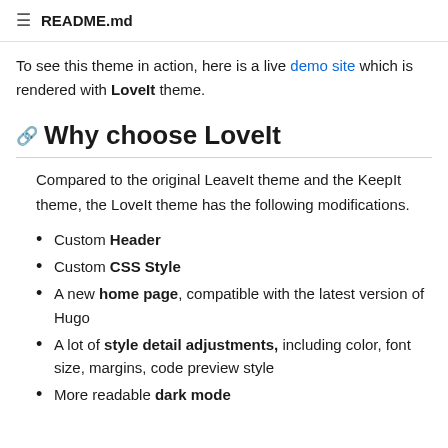README.md
To see this theme in action, here is a live demo site which is rendered with LoveIt theme.
Why choose LoveIt
Compared to the original LeaveIt theme and the KeepIt theme, the LoveIt theme has the following modifications.
Custom Header
Custom CSS Style
A new home page, compatible with the latest version of Hugo
A lot of style detail adjustments, including color, font size, margins, code preview style
More readable dark mode